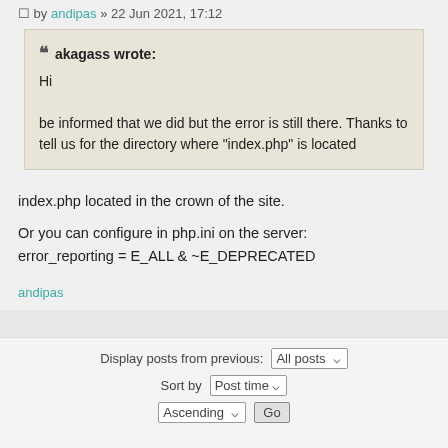by andipas » 22 Jun 2021, 17:12
akagass wrote:
Hi

be informed that we did but the error is still there. Thanks to tell us for the directory where "index.php" is located
index.php located in the crown of the site.

Or you can configure in php.ini on the server:
error_reporting = E_ALL & ~E_DEPRECATED
andipas
Display posts from previous: All posts ▾
Sort by: Post time ▾
Ascending ▾ Go